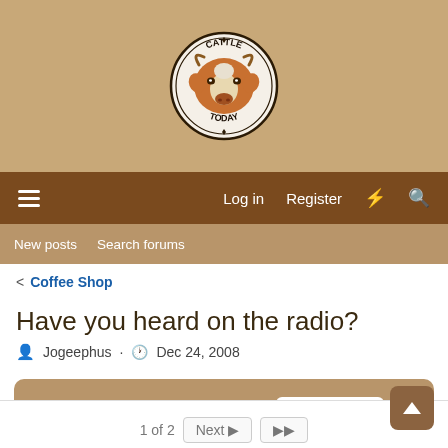[Figure (logo): Cattle Today circular logo with a brown and white cow head illustration, text 'CATTLE TODAY' around the circle border]
Log in  Register  [lightning icon]  [search icon]
New posts  Search forums
< Coffee Shop
Have you heard on the radio?
Jogeephus · Dec 24, 2008
Help Support CattleToday:  DONATE
1 of 2  Next ▶  ▶▶